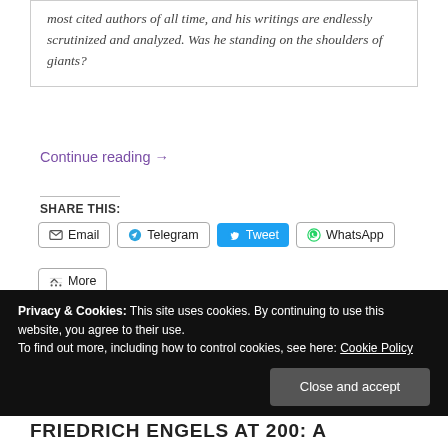most cited authors of all time, and his writings are endlessly scrutinized and analyzed. Was he standing on the shoulders of giants?
Continue reading →
SHARE THIS:
Email  Telegram  Tweet  WhatsApp  More
Loading...
Privacy & Cookies: This site uses cookies. By continuing to use this website, you agree to their use. To find out more, including how to control cookies, see here: Cookie Policy
Close and accept
FRIEDRICH ENGELS AT 200: A